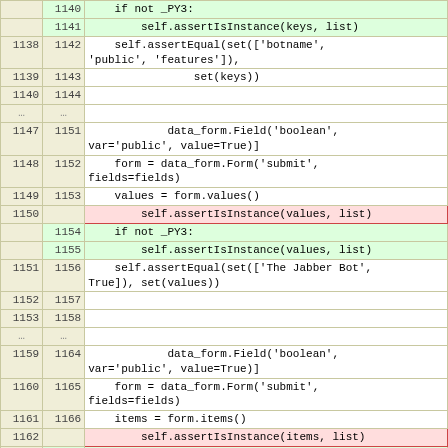| old | new | code |
| --- | --- | --- |
|  | 1140 |     if not _PY3: |
|  | 1141 |         self.assertIsInstance(keys, list) |
| 1138 | 1142 | self.assertEqual(set(['botname',
'public', 'features']), |
| 1139 | 1143 |                 set(keys)) |
| 1140 | 1144 |  |
| ... | ... |  |
| 1147 | 1151 |             data_form.Field('boolean',
var='public', value=True)] |
| 1148 | 1152 |     form = data_form.Form('submit',
fields=fields) |
| 1149 | 1153 |     values = form.values() |
| 1150 |  |         self.assertIsInstance(values, list) |
|  | 1154 |     if not _PY3: |
|  | 1155 |         self.assertIsInstance(values, list) |
| 1151 | 1156 | self.assertEqual(set(['The Jabber Bot',
True]), set(values)) |
| 1152 | 1157 |  |
| 1153 | 1158 |  |
| ... | ... |  |
| 1159 | 1164 |             data_form.Field('boolean',
var='public', value=True)] |
| 1160 | 1165 |     form = data_form.Form('submit',
fields=fields) |
| 1161 | 1166 |     items = form.items() |
| 1162 |  |         self.assertIsInstance(items, list) |
|  | 1167 |     if not _PY3: |
|  | 1168 |         self.assertIsInstance(items, list) |
| 1163 | 1169 | self.assertEqual(set([('botname', 'The
Jabber Bot'), |
| 1164 | 1170 |                 ('public', True)]), |
| 1165 | 1171 |         set(items)) |